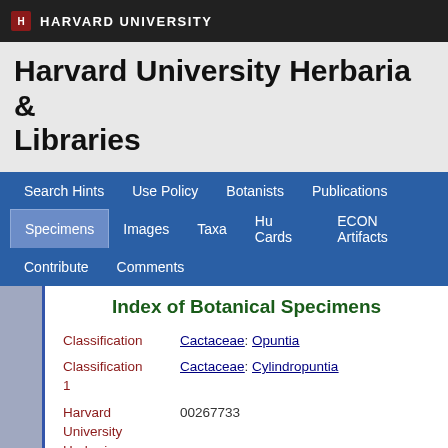HARVARD UNIVERSITY
Harvard University Herbaria & Libraries
Search Hints | Use Policy | Botanists | Publications | Specimens | Images | Taxa | Hu Cards | ECON Artifacts | Contribute | Comments
Index of Botanical Specimens
| Field | Value |
| --- | --- |
| Classification | Cactaceae: Opuntia |
| Classification 1 | Cactaceae: Cylindropuntia |
| Harvard University Herbaria Barcode(s) | 00267733 |
| Collector | C. Wright |
| Collector number | L1 |